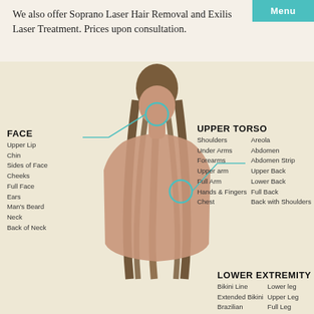Menu
We also offer Soprano Laser Hair Removal and Exilis Laser Treatment. Prices upon consultation.
[Figure (infographic): Back view of a person with long brown hair, annotated with body area labels for laser hair removal treatment zones including FACE, UPPER TORSO, and LOWER EXTREMITY sections, connected by teal/aqua lines to relevant body parts.]
FACE: Upper Lip, Chin, Sides of Face, Cheeks, Full Face, Ears, Man's Beard, Neck, Back of Neck
UPPER TORSO: Shoulders, Under Arms, Forearms, Upper arm, Full Arm, Hands & Fingers, Chest, Areola, Abdomen, Abdomen Strip, Upper Back, Lower Back, Full Back, Back with Shoulders
LOWER EXTREMITY: Bikini Line, Extended Bikini, Brazilian, Lower leg, Upper Leg, Full Leg